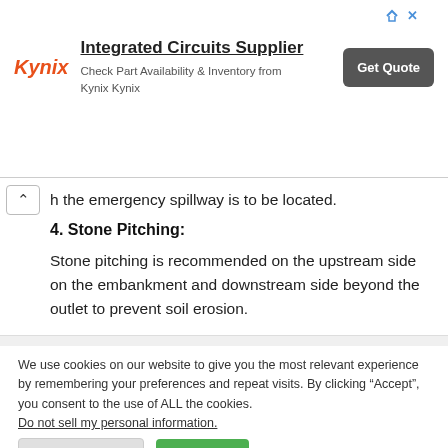[Figure (other): Kynix advertisement banner: Integrated Circuits Supplier - Check Part Availability & Inventory from Kynix Kynix, with Get Quote button]
h the emergency spillway is to be located.
4. Stone Pitching:
Stone pitching is recommended on the upstream side on the embankment and downstream side beyond the outlet to prevent soil erosion.
We use cookies on our website to give you the most relevant experience by remembering your preferences and repeat visits. By clicking “Accept”, you consent to the use of ALL the cookies.
Do not sell my personal information.